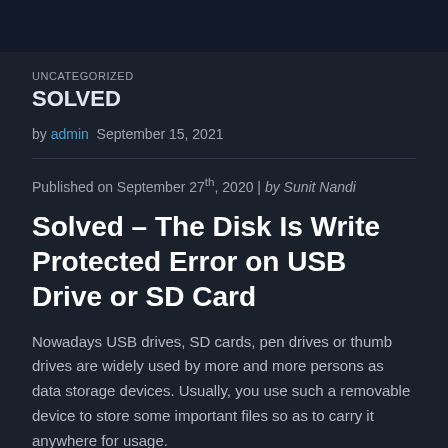UNCATEGORIZED
SOLVED
by admin  September 15, 2021
Published on September 27th, 2020 | by Sunit Nandi
Solved – The Disk Is Write Protected Error on USB Drive or SD Card
Nowadays USB drives, SD cards, pen drives or thumb drives are widely used by more and more persons as data storage devices. Usually, you use such a removable device to store some important files so as to carry it anywhere for usage.